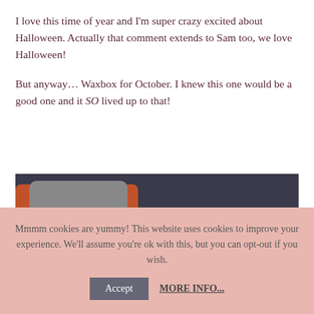I love this time of year and I'm super crazy excited about Halloween. Actually that comment extends to Sam too, we love Halloween!
But anyway… Waxbox for October. I knew this one would be a good one and it SO lived up to that!
[Figure (photo): A box containing several candle products including a Village Candle tin in orange, a pink round tin, and a red tin, with brown packaging material.]
Mmmm cookies are yummy! This website uses cookies to improve your experience. We'll assume you're ok with this, but you can opt-out if you wish. Accept MORE INFO...